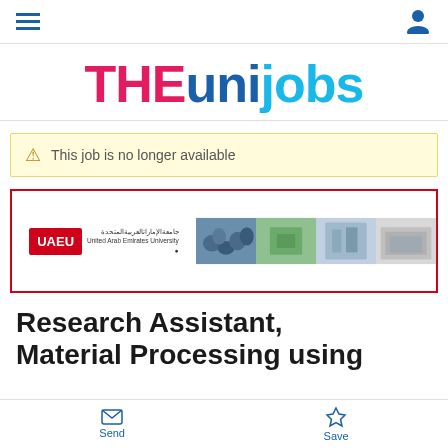[Figure (logo): THEunijobs logo with THE in pink/red and uni in dark blue and jobs in light blue]
This job is no longer available
[Figure (illustration): UAEU (United Arab Emirates University) employer banner with logo on left and collage of university photos on right showing students, researchers, and campus]
Research Assistant, Material Processing using
Send  Save